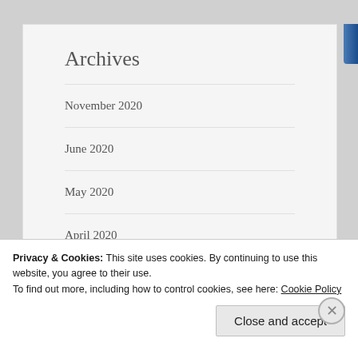Archives
November 2020
June 2020
May 2020
April 2020
March 2020
Privacy & Cookies: This site uses cookies. By continuing to use this website, you agree to their use.
To find out more, including how to control cookies, see here: Cookie Policy
Close and accept